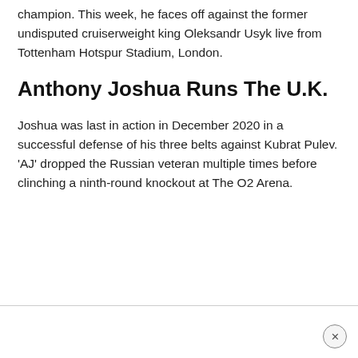champion. This week, he faces off against the former undisputed cruiserweight king Oleksandr Usyk live from Tottenham Hotspur Stadium, London.
Anthony Joshua Runs The U.K.
Joshua was last in action in December 2020 in a successful defense of his three belts against Kubrat Pulev. 'AJ' dropped the Russian veteran multiple times before clinching a ninth-round knockout at The O2 Arena.